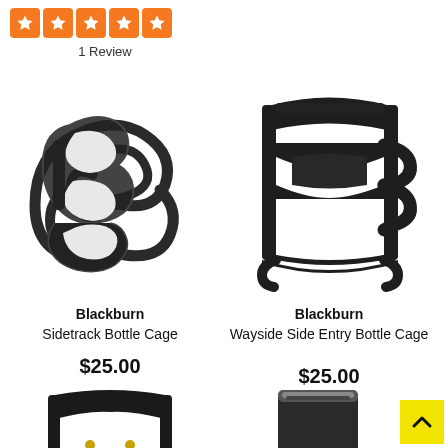[Figure (other): Five orange star rating boxes with white stars, arranged in a row]
1 Review
[Figure (photo): Blackburn Sidetrack Bottle Cage - black metal wire bottle cage shaped like a stylized B]
Blackburn
Sidetrack Bottle Cage
$25.00
[Figure (photo): Blackburn Wayside Side Entry Bottle Cage - black plastic/metal side-entry bottle cage]
Blackburn
Wayside Side Entry Bottle Cage
$25.00
[Figure (photo): Partial view of a black bottle cage product at bottom left]
[Figure (photo): Partial view of a black tumbler/cup product at bottom right]
[Figure (other): Yellow back-to-top button with up caret symbol]